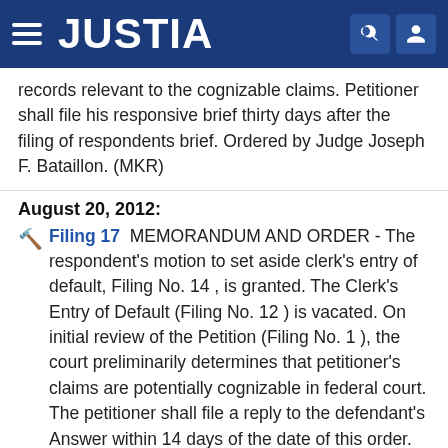JUSTIA
records relevant to the cognizable claims. Petitioner shall file his responsive brief thirty days after the filing of respondents brief. Ordered by Judge Joseph F. Bataillon. (MKR)
August 20, 2012:
Filing 17  MEMORANDUM AND ORDER - The respondent's motion to set aside clerk's entry of default, Filing No. 14 , is granted. The Clerk's Entry of Default (Filing No. 12 ) is vacated. On initial review of the Petition (Filing No. 1 ), the court preliminarily determines that petitioner's claims are potentially cognizable in federal court. The petitioner shall file a reply to the defendant's Answer within 14 days of the date of this order. Respondent shall file all state court records that are relevant to the cognizable claims within 45 days of the date of this order. See,